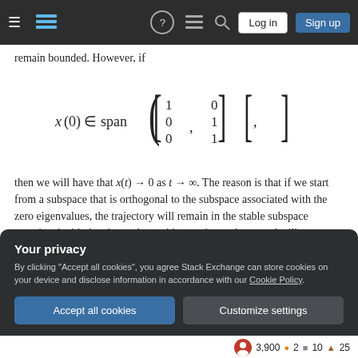Navigation bar with logo, help, search, Log in, Sign up buttons
remain bounded. However, if
then we will have that x(t) → 0 as t → ∞. The reason is that if we start from a subspace that is orthogonal to the subspace associated with the zero eigenvalues, the trajectory will remain in the stable subspace associated with the eigenvalues with negative real part and will, therefore, converge to zero.
Your privacy
By clicking "Accept all cookies", you agree Stack Exchange can store cookies on your device and disclose information in accordance with our Cookie Policy.
3,900 ● 2 ■ 10 ▲ 25